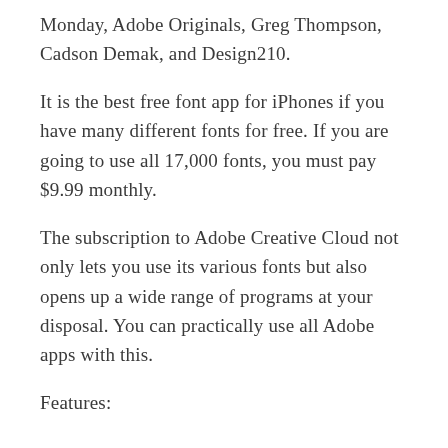Monday, Adobe Originals, Greg Thompson, Cadson Demak, and Design210.
It is the best free font app for iPhones if you have many different fonts for free. If you are going to use all 17,000 fonts, you must pay $9.99 monthly.
The subscription to Adobe Creative Cloud not only lets you use its various fonts but also opens up a wide range of programs at your disposal. You can practically use all Adobe apps with this.
Features: